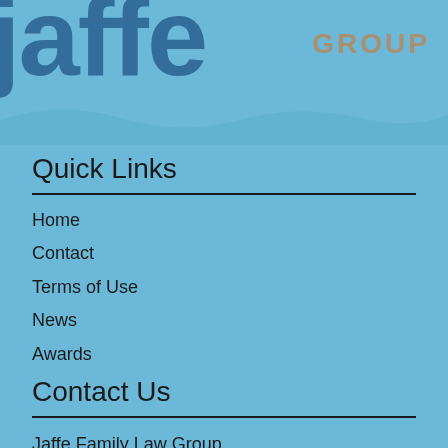[Figure (logo): Jaffe Family Law Group logo — large dark blue 'jaffe' text with 'GROUP' in tan/gold letters on light blue background]
Quick Links
Home
Contact
Terms of Use
News
Awards
Contact Us
Jaffe Family Law Group
1901 Ave. of the Stars
Suite 680
Los Angeles, CA 90067